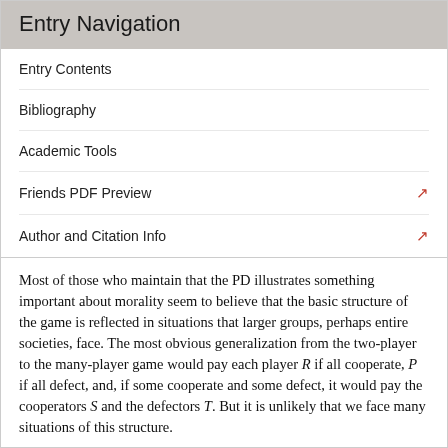Entry Navigation
Entry Contents
Bibliography
Academic Tools
Friends PDF Preview
Author and Citation Info
Most of those who maintain that the PD illustrates something important about morality seem to believe that the basic structure of the game is reflected in situations that larger groups, perhaps entire societies, face. The most obvious generalization from the two-player to the many-player game would pay each player R if all cooperate, P if all defect, and, if some cooperate and some defect, it would pay the cooperators S and the defectors T. But it is unlikely that we face many situations of this structure.
A common view is that a multi-player PD structure is